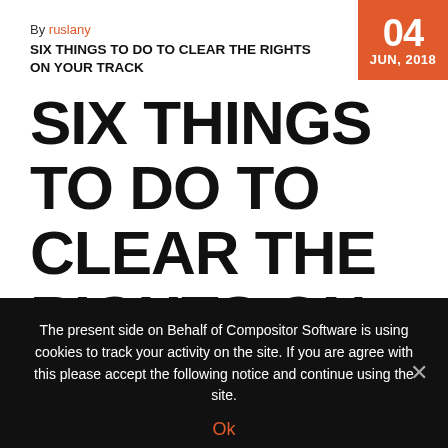By ruslany
04 JUN, 2018
SIX THINGS TO DO TO CLEAR THE RIGHTS ON YOUR TRACK
SIX THINGS TO DO TO CLEAR THE RIGHTS ON YOUR TRACK
In a career of any artist such situations happen, when it is needed to make an emission of your composition from rotation.  Such
The present side on Behalf of Compositor Software is using cookies to track your activity on the site. If you are agree with this please accept the following notice and continue using the site.
Ok